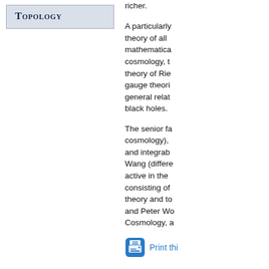Topology
richer.
A particularly theory of all mathematica cosmology, t theory of Rie gauge theori general relat black holes.
The senior fa cosmology), and integrab Wang (differe active in the consisting of theory and to and Peter Wo Cosmology, a
Print thi